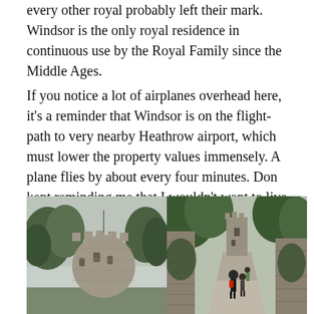every other royal probably left their mark. Windsor is the only royal residence in continuous use by the Royal Family since the Middle Ages.
If you notice a lot of airplanes overhead here, it's a reminder that Windsor is on the flight-path to very nearby Heathrow airport, which must lower the property values immensely. A plane flies by about every four minutes. Don kept reminding me that I wouldn't want to live with all that noise...
[Figure (photo): Two side-by-side photos of Windsor Castle: left photo shows the round tower of Windsor Castle with trees in the foreground against an overcast sky; right photo shows a pathway leading toward a castle tower with people walking, trees and stone walls on either side.]